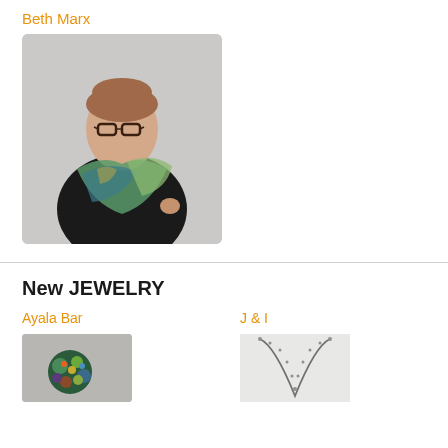Beth Marx
[Figure (photo): Woman with brown hair wearing glasses and a green/teal felted scarf over a black top, posed against a light grey background]
New JEWELRY
Ayala Bar
J & I
[Figure (photo): Colorful beaded brooch or jewelry piece in blues, greens, and purples]
[Figure (photo): Silver chain necklace with V-shape pendant on white background]